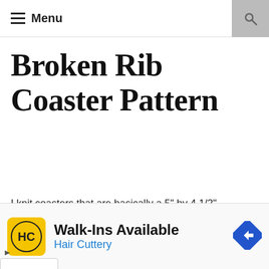Menu
Broken Rib Coaster Pattern
I knit coasters that are basically a 5" by 4 1/2" rectangle using the broken rib knitting stitch. The broken rib knitting stitch is good for coasters because it will lay flat to hold my mugs and glasses and the edges don't curl very much (and you can wash and block them to ny curling). This is also a good one for holding my larger mugs
[Figure (other): Advertisement banner for Hair Cuttery with logo, Walk-Ins Available text, and directional arrow icon]